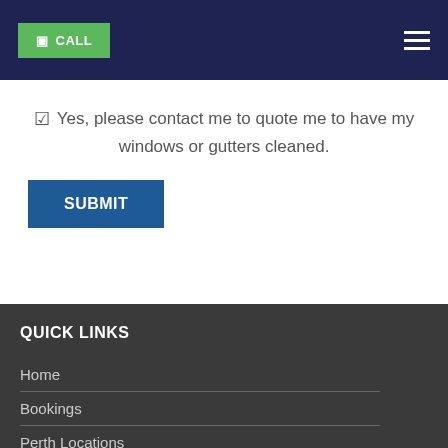CALL [navigation menu]
Yes, please contact me to quote me to have my windows or gutters cleaned.
SUBMIT
QUICK LINKS
Home
Bookings
Perth Locations
Contact